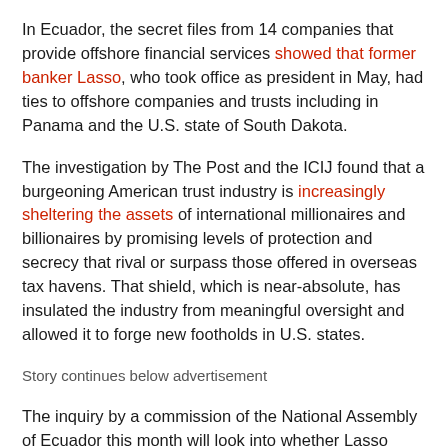In Ecuador, the secret files from 14 companies that provide offshore financial services showed that former banker Lasso, who took office as president in May, had ties to offshore companies and trusts including in Panama and the U.S. state of South Dakota.
The investigation by The Post and the ICIJ found that a burgeoning American trust industry is increasingly sheltering the assets of international millionaires and billionaires by promising levels of protection and secrecy that rival or surpass those offered in overseas tax havens. That shield, which is near-absolute, has insulated the industry from meaningful oversight and allowed it to forge new footholds in U.S. states.
Story continues below advertisement
The inquiry by a commission of the National Assembly of Ecuador this month will look into whether Lasso broke a 2017 law that bars presidential candidates and public officials from holding assets in